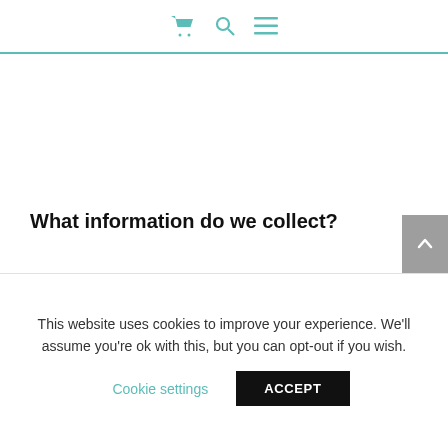Cart | Search | Menu — navigation icons
What information do we collect?
We collect information from you when you register on our site, place an order, subscribe to our newsletter or fill out a form.
This website uses cookies to improve your experience. We'll assume you're ok with this, but you can opt-out if you wish.
Cookie settings   ACCEPT